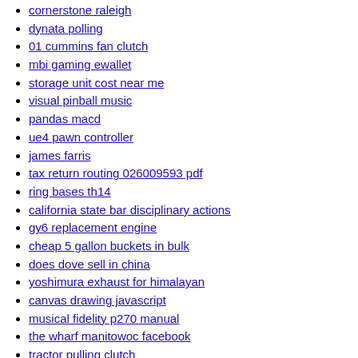cornerstone raleigh
dynata polling
01 cummins fan clutch
mbi gaming ewallet
storage unit cost near me
visual pinball music
pandas macd
ue4 pawn controller
james farris
tax return routing 026009593 pdf
ring bases th14
california state bar disciplinary actions
gy6 replacement engine
cheap 5 gallon buckets in bulk
does dove sell in china
yoshimura exhaust for himalayan
canvas drawing javascript
musical fidelity p270 manual
the wharf manitowoc facebook
tractor pulling clutch
ticketmaster 1099 email legit
marlin 336 rear barrel band
windsor castle hours
resmed s10
chicano music festival